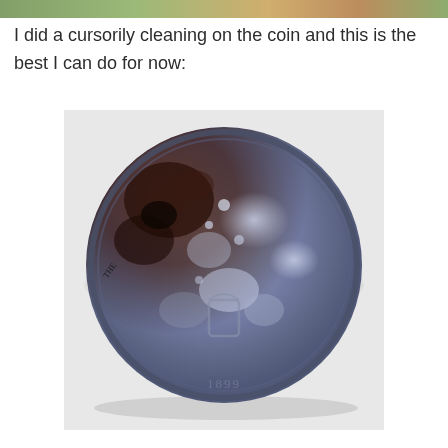[Figure (photo): Colorful top banner strip — partial photo visible at the top edge of the page, showing blurred green and orange tones.]
I did a cursorily cleaning on the coin and this is the best I can do for now:
[Figure (photo): Close-up photo of an old, heavily worn and corroded coin. The coin appears to be a late 19th century coin (date 1899 visible at the bottom). The surface is mottled blue-grey with dark brown/rust-colored corrosion patches, especially on the upper left. The coin is placed on a white/light grey surface. Faint text is visible around the rim and a shield or bust design is partially visible in the center.]